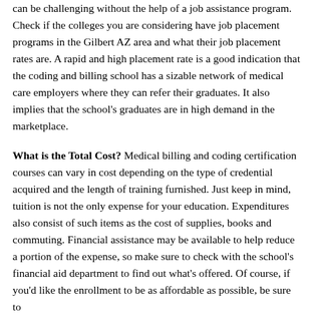can be challenging without the help of a job assistance program. Check if the colleges you are considering have job placement programs in the Gilbert AZ area and what their job placement rates are. A rapid and high placement rate is a good indication that the coding and billing school has a sizable network of medical care employers where they can refer their graduates. It also implies that the school's graduates are in high demand in the marketplace.
What is the Total Cost? Medical billing and coding certification courses can vary in cost depending on the type of credential acquired and the length of training furnished. Just keep in mind, tuition is not the only expense for your education. Expenditures also consist of such items as the cost of supplies, books and commuting. Financial assistance may be available to help reduce a portion of the expense, so make sure to check with the school's financial aid department to find out what's offered. Of course, if you'd like the enrollment to be as affordable as possible, be sure to